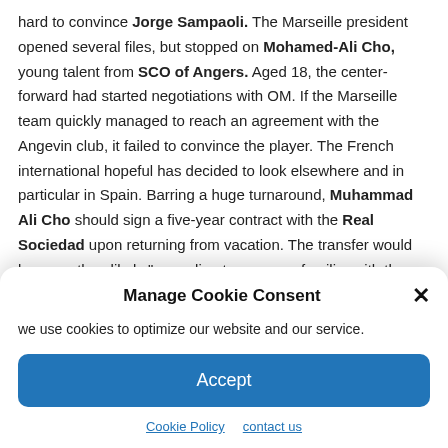hard to convince Jorge Sampaoli. The Marseille president opened several files, but stopped on Mohamed-Ali Cho, young talent from SCO of Angers. Aged 18, the center-forward had started negotiations with OM. If the Marseille team quickly managed to reach an agreement with the Angevin club, it failed to convince the player. The French international hopeful has decided to look elsewhere and in particular in Spain. Barring a huge turnaround, Muhammad Ali Cho should sign a five-year contract with the Real Sociedad upon returning from vacation. The transfer would be more than likely “according to a source familiar with the matter
Manage Cookie Consent
we use cookies to optimize our website and our service.
Accept
Cookie Policy   contact us